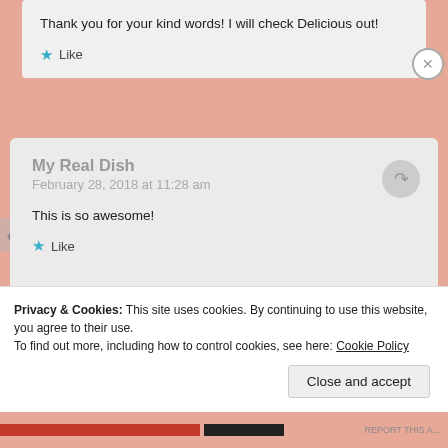Thank you for your kind words! I will check Delicious out!
Like
My Real Dish
February 28, 2018 at 11:28 am
This is so awesome!
Like
Privacy & Cookies: This site uses cookies. By continuing to use this website, you agree to their use.
To find out more, including how to control cookies, see here: Cookie Policy
Close and accept